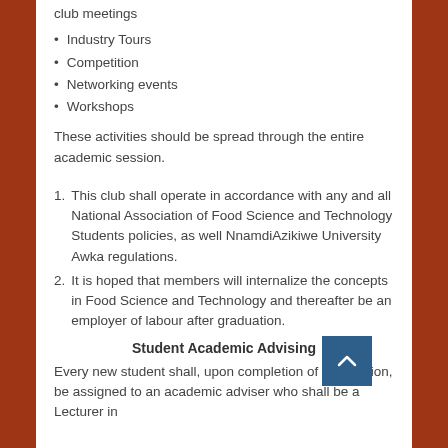club meetings
Industry Tours
Competition
Networking events
Workshops
These activities should be spread through the entire academic session.
1. This club shall operate in accordance with any and all National Association of Food Science and Technology Students policies, as well NnamdiAzikiwe University Awka regulations.
2. It is hoped that members will internalize the concepts in Food Science and Technology and thereafter be an employer of labour after graduation.
Student Academic Advising
Every new student shall, upon completion of registration, be assigned to an academic adviser who shall be a Lecturer in